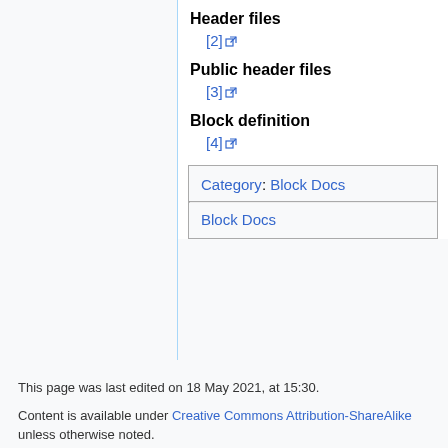Header files
[2]
Public header files
[3]
Block definition
[4]
| Category:  Block Docs |
| Block Docs |
This page was last edited on 18 May 2021, at 15:30.
Content is available under Creative Commons Attribution-ShareAlike unless otherwise noted.
Privacy policy   About GNU Radio
Disclaimers